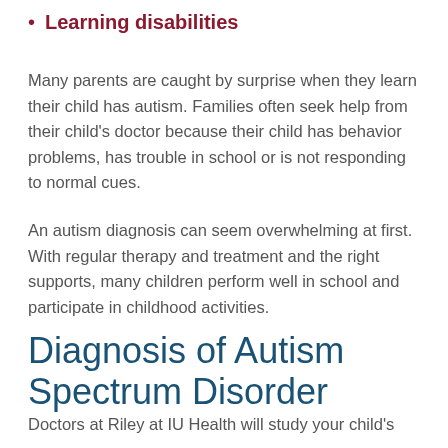Learning disabilities
Many parents are caught by surprise when they learn their child has autism. Families often seek help from their child's doctor because their child has behavior problems, has trouble in school or is not responding to normal cues.
An autism diagnosis can seem overwhelming at first. With regular therapy and treatment and the right supports, many children perform well in school and participate in childhood activities.
Diagnosis of Autism Spectrum Disorder
Doctors at Riley at IU Health will study your child's